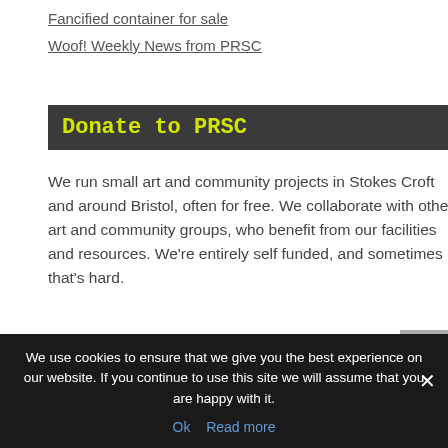Fancified container for sale
Woof! Weekly News from PRSC
Donate to PRSC
We run small art and community projects in Stokes Croft and around Bristol, often for free. We collaborate with other art and community groups, who benefit from our facilities and resources. We're entirely self funded, and sometimes that's hard.
If you like what we do, please consider donating. PRSC is at the forefront of defending public spaces, cultural freedoms, and an alternative voice from the city. With
We use cookies to ensure that we give you the best experience on our website. If you continue to use this site we will assume that you are happy with it.
Ok   Read more